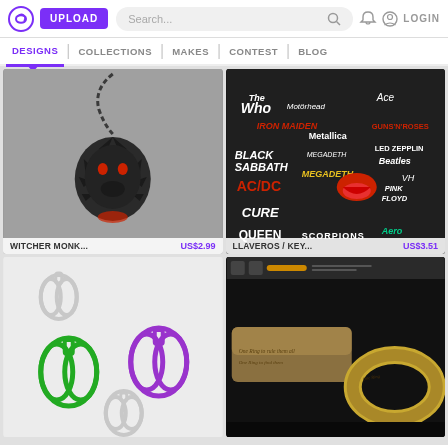UPLOAD | Search... | LOGIN
DESIGNS | COLLECTIONS | MAKES | CONTEST | BLOG
[Figure (photo): 3D printed Witcher wolf head pendant on chain, dark metallic finish, gray background]
WITCHER MONK... US$2.99
[Figure (photo): Collection of rock band logo keychains on dark background including The Who, Motorhead, Iron Maiden, Metallica, Guns N Roses, AC/DC, Rolling Stones, Pink Floyd, Van Halen, Queen, Scorpions and others]
LLAVEROS / KEY... US$3.51
[Figure (photo): 3D printed pumpkin-shaped cookie cutters in green, purple, and white/gray colors on white background]
[Figure (photo): 3D model screenshot of Lord of the Rings One Ring with Elvish inscription, gold metallic finish, dark background with ZBrush interface visible at top]